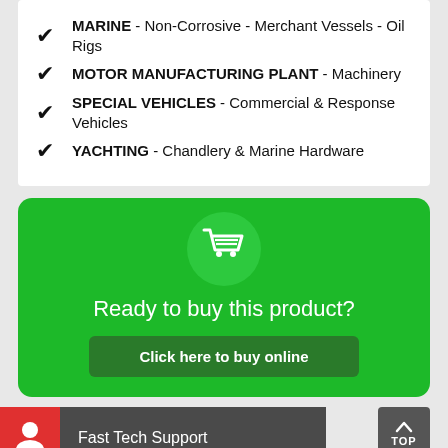MARINE - Non-Corrosive - Merchant Vessels - Oil Rigs
MOTOR MANUFACTURING PLANT - Machinery
SPECIAL VEHICLES - Commercial & Response Vehicles
YACHTING - Chandlery & Marine Hardware
[Figure (illustration): Green card with shopping cart icon, 'Ready to buy this product?' text, and 'Click here to buy online' button]
Fast Tech Support
[Figure (infographic): Blue bottom bar with plus circle and TOP button]